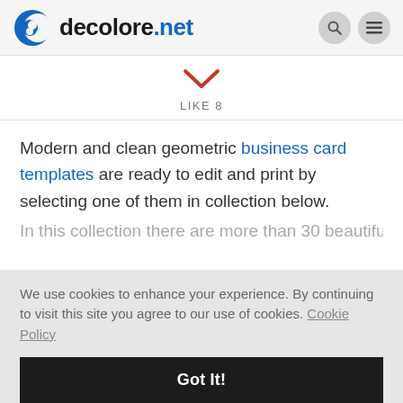decolore.net
[Figure (other): Red downward chevron/arrow icon above LIKE 8 label]
LIKE 8
Modern and clean geometric business card templates are ready to edit and print by selecting one of them in collection below.
We use cookies to enhance your experience. By continuing to visit this site you agree to our use of cookies. Cookie Policy
Got It!